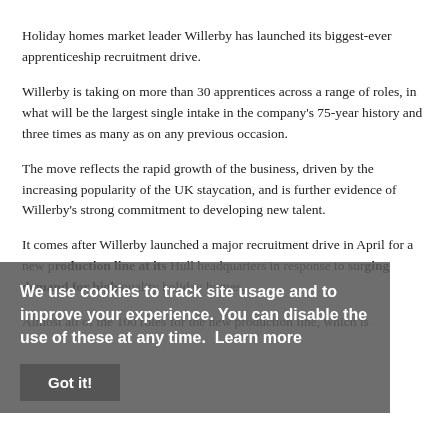Holiday homes market leader Willerby has launched its biggest-ever apprenticeship recruitment drive.
Willerby is taking on more than 30 apprentices across a range of roles, in what will be the largest single intake in the company's 75-year history and three times as many as on any previous occasion.
The move reflects the rapid growth of the business, driven by the increasing popularity of the UK staycation, and is further evidence of Willerby's strong commitment to developing new talent.
It comes after Willerby launched a major recruitment drive in April for a new production line at its Hull headquarters in response to surging demand for high quality holiday homes.
Almost all of the 100 roles for the new production line, which is
We use cookies to track site usage and to improve your experience. You can disable the use of these at any time.  Learn more